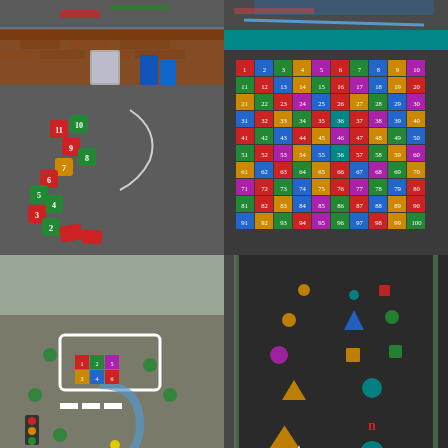[Figure (photo): Partial view of playground marking on tarmac - top left, cut off at top]
[Figure (photo): Partial view of playground with blue line and coloured markings - top right, cut off at top]
[Figure (photo): Playground snake board game painted on tarmac with coloured numbered squares in a winding pattern, blue bins and brick building in background]
[Figure (photo): Colourful 100-square number grid painted on dark playground surface, numbers 1-100 in multi-coloured squares]
[Figure (photo): Playground road-themed game with a road layout, traffic light, pedestrian crossing and colourful junction painted on tarmac, with a child playing]
[Figure (photo): Dark tarmac path with various colourful shapes (circles, stars, triangles, squares) painted along it, leading into distance]
[Figure (photo): Partial view of playground with green grass area and white vehicle - bottom left, partially cut off]
[Figure (photo): Partial view of dark tarmac playground surface with curved line - bottom right, partially cut off]